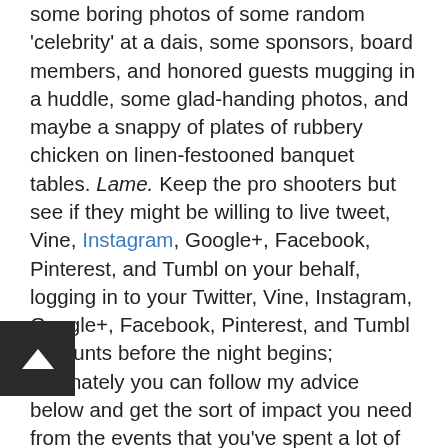some boring photos of some random 'celebrity' at a dais, some sponsors, board members, and honored guests mugging in a huddle, some glad-handing photos, and maybe a snappy of plates of rubbery chicken on linen-festooned banquet tables. Lame. Keep the pro shooters but see if they might be willing to live tweet, Vine, Instagram, Google+, Facebook, Pinterest, and Tumbl on your behalf, logging in to your Twitter, Vine, Instagram, Google+, Facebook, Pinterest, and Tumbl accounts before the night begins; alternately you can follow my advice below and get the sort of impact you need from the events that you've spent a lot of money and energy on already — events that could really help your brand profile in the noisy, noisy, world — but at which there are only dozens to hundreds of attendees and not the thousands-upon-thousands you've acquired through social media marketing across all of your social networks and social